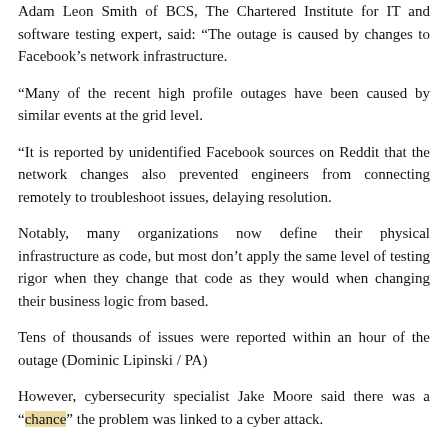Adam Leon Smith of BCS, The Chartered Institute for IT and software testing expert, said: “The outage is caused by changes to Facebook’s network infrastructure.
“Many of the recent high profile outages have been caused by similar events at the grid level.
“It is reported by unidentified Facebook sources on Reddit that the network changes also prevented engineers from connecting remotely to troubleshoot issues, delaying resolution.
Notably, many organizations now define their physical infrastructure as code, but most don’t apply the same level of testing rigor when they change that code as they would when changing their business logic from based.
Tens of thousands of issues were reported within an hour of the outage (Dominic Lipinski / PA)
However, cybersecurity specialist Jake Moore said there was a “chance” the problem was linked to a cyber attack.